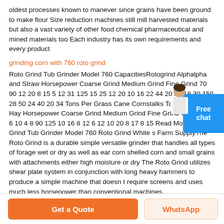oldest processes known to manever since grains have been ground to make flour Size reduction machines still mill harvested materials but also a vast variety of other food chemical pharmaceutical and mined materials too Each industry has its own requirements and every product
grinding corn with 760 roto grind
Roto Grind Tub Grinder Model 760 CapacitiesRotogrind Alphalpha and Straw Horsepower Coarse Grind Medium Grind Fine Grind 70 90 12 20 8 15 5 12 31 125 15 25 12 20 10 16 22 44 20 36 18 30 150 28 50 24 40 20 34 Tons Per Grass Cane Cornstalks Tough or Wet Hay Horsepower Coarse Grind Medium Grind Fine Grind 70 90 8 12 6 10 4 8 90 125 10 16 8 12 6 12 10 20 8 17 8 15 Read More Roto Grind Tub Grinder Model 760 Roto Grind White s Farm SupplyThe Roto Grind is a durable simple versatile grinder that handles all types of forage wet or dry as well as ear corn shelled corn and small grains with attachments either high moisture or dry The Roto Grind utilizes shear plate system in conjunction with long heavy hammers to produce a simple machine that doesn t require screens and uses much less horsepower than conventional machines.
[Figure (illustration): Free chat widget with avatar in top right corner, blue box with 'Free chat' text]
Get a Quote
WhatsApp